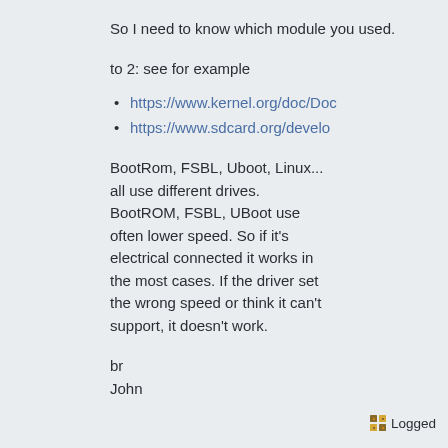So I need to know which module you used.
to 2: see for example
https://www.kernel.org/doc/Doc
https://www.sdcard.org/develo
BootRom, FSBL, Uboot, Linux... all use different drives. BootROM, FSBL, UBoot use often lower speed. So if it's electrical connected it works in the most cases. If the driver set the wrong speed or think it can't support, it doesn't work.
br
John
Logged